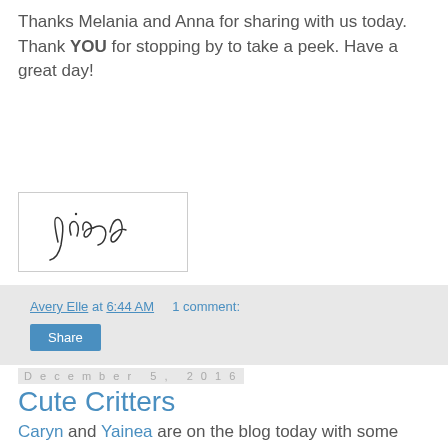Thanks Melania and Anna for sharing with us today. Thank YOU for stopping by to take a peek. Have a great day!
[Figure (illustration): Handwritten cursive signature reading 'Jamie' in a bordered white box]
Avery Elle at 6:44 AM    1 comment:
Share
December 5, 2016
Cute Critters
Caryn and Yainea are on the blog today with some cute critters.  Check it out.